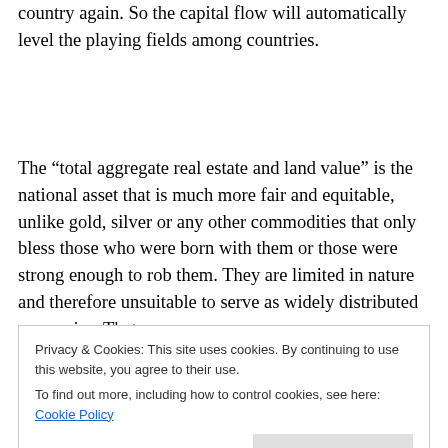country again. So the capital flow will automatically level the playing fields among countries.
The “total aggregate real estate and land value” is the national asset that is much more fair and equitable, unlike gold, silver or any other commodities that only bless those who were born with them or those were strong enough to rob them. They are limited in nature and therefore unsuitable to serve as widely distributed currencies. That
Privacy & Cookies: This site uses cookies. By continuing to use this website, you agree to their use.
To find out more, including how to control cookies, see here: Cookie Policy
Close and accept
the other hand, the primary asset category, Glob. Mark...